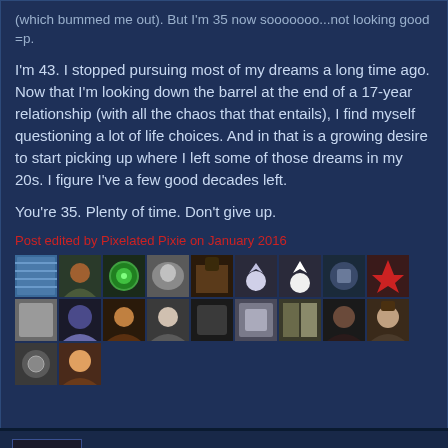(which bummed me out). But I'm 35 now sooooooo...not looking good =p.
I'm 43. I stopped pursuing most of my dreams a long time ago. Now that I'm looking down the barrel at the end of a 17-year relationship (with all the chaos that that entails), I find myself questioning a lot of life choices. And in that is a growing desire to start picking up where I left some of those dreams in my 20s. I figure I've a few good decades left.

You're 35. Plenty of time. Don't give up.
Post edited by Pixelated Pixie on January 2016
[Figure (illustration): Row of user avatar thumbnails - two rows of small square profile pictures]
Big Classy
January 2016
I haven't played anything in forever. I just can't get into any of